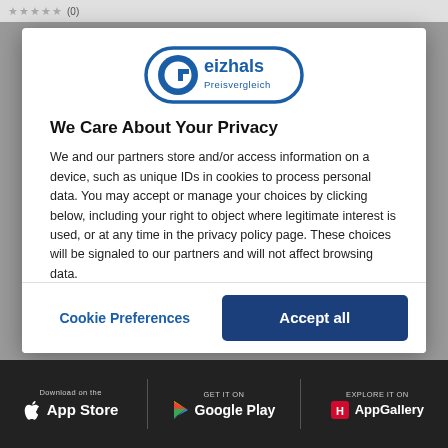[Figure (logo): Geizhals Preisvergleich logo — blue rounded rectangle with stylized G and 'eizhals Preisvergleich' text]
We Care About Your Privacy
We and our partners store and/or access information on a device, such as unique IDs in cookies to process personal data. You may accept or manage your choices by clicking below, including your right to object where legitimate interest is used, or at any time in the privacy policy page. These choices will be signaled to our partners and will not affect browsing data.
Privacy Policy
By clicking on "Accept all" or "Allow all", you also consent in
Cookie Preferences
Accept all
[Figure (screenshot): App store badges: Download on the App Store, GET IT ON Google Play, EXPLORE IT ON AppGallery]